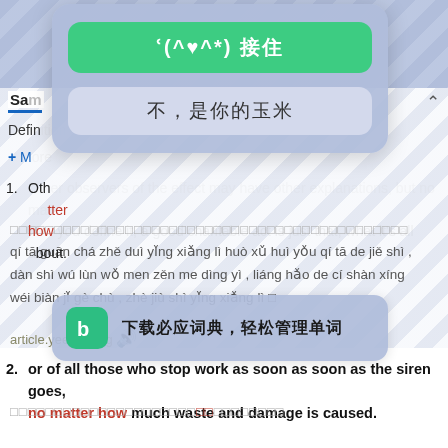[Figure (screenshot): Mobile app screenshot showing a Chinese language learning dictionary app with a popup overlay containing a green button with emoji text '(^♡^*) 接住', a gray button '不，是你的玉米', and a Bing dictionary promotion banner '下载必应词典，轻松管理单词'. Behind the overlay are dictionary entries with English text and Chinese pinyin romanization, showing definitions and example sentences for 'no matter how'.]
Sam
Defin
+ Mo
1. Oth... atter how ...bout.
qí tā guān chá zhě duì yǐng xiǎng lì huò xǔ huì yǒu qí tā de jiě shì , dàn shì wú lùn wǒ men zěn me dìng yì , liáng hǎo de cí shàn xíng wéi biàn jǐ gè chù , zhè jiù shì yǐng xiǎng lì 。
article.yeeyan.org 🔊
2. or of all those who stop work as soon as soon as the siren goes, no matter how much waste and damage is caused.
huò suǒ yǒu nà xiē tíng zhǐ gōng zuò , tā men hěn kuài jiù huì jǐn kuài jǐng bào qì zǒu , bù guǎn duō shao làng fèi hé zào chéng sǔn huài de 。
wenwen.soso.com 🔊
ʿ(^♡^*) 接住
不，是你的玉米
下载必应词典，轻松管理单词